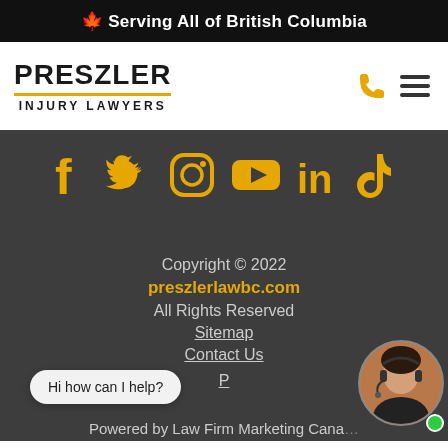🍁 Serving All of British Columbia
[Figure (logo): Preszler Injury Lawyers logo with phone and hamburger menu icons]
[Figure (infographic): Social media icons row: Facebook, Twitter, Instagram, YouTube, LinkedIn, TikTok in gold/amber color on dark background]
Copyright © 2022
preszlerlawbc.com
All Rights Reserved
Sitemap
Contact Us
P...
Powered by Law Firm Marketing Cana...